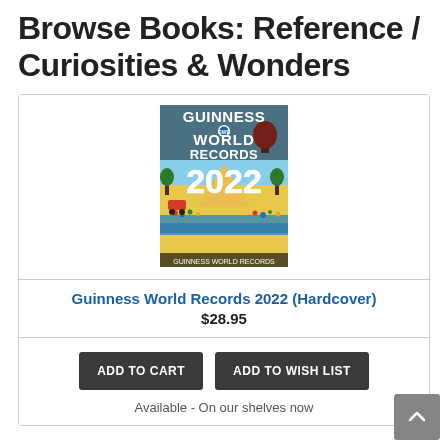Browse Books: Reference / Curiosities & Wonders
[Figure (illustration): Guinness World Records 2022 book cover with colorful cartoon-style illustration and bold white text]
Guinness World Records 2022 (Hardcover)
$28.95
ADD TO CART
ADD TO WISH LIST
Available - On our shelves now